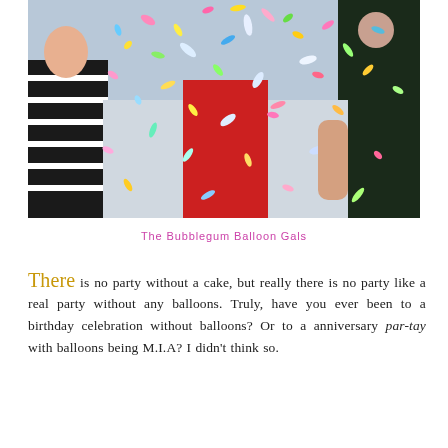[Figure (photo): Photo of people celebrating with colorful confetti exploding in the air. Two people visible — one on the left wearing a black and white striped outfit, one on the right in a dark floral dress. The confetti is multicolored (pink, yellow, green, blue, red, silver) filling most of the frame.]
The Bubblegum Balloon Gals
There is no party without a cake, but really there is no party like a real party without any balloons. Truly, have you ever been to a birthday celebration without balloons? Or to a anniversary par-tay with balloons being M.I.A? I didn't think so.